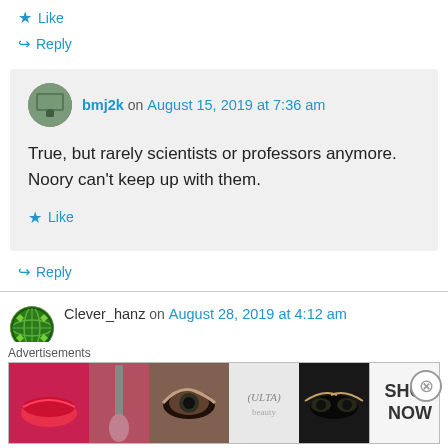★ Like
↪ Reply
bmj2k on August 15, 2019 at 7:36 am
True, but rarely scientists or professors anymore. Noory can't keep up with them.
★ Like
↪ Reply
Clever_hanz on August 28, 2019 at 4:12 am
[Figure (screenshot): Advertisement banner for ULTA beauty products showing makeup photos and SHOP NOW text]